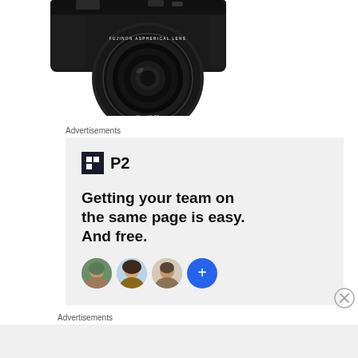[Figure (photo): Close-up photo of a black digital camera (Fujifilm) showing the front lens and body from above, cropped at the top of the page]
Advertisements
[Figure (screenshot): Advertisement for P2 product. Shows the P2 logo (dark square icon with grid pattern and 'P2' text), followed by bold headline text 'Getting your team on the same page is easy. And free.' Below are four circular avatar images of people, the last being a blue circle with a plus sign.]
Advertisements